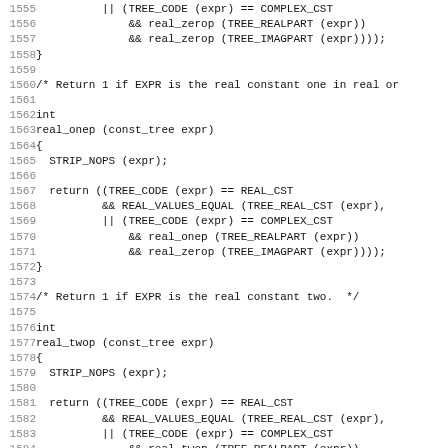Source code listing, lines 1555-1586, C language function definitions for real_onep and real_twop